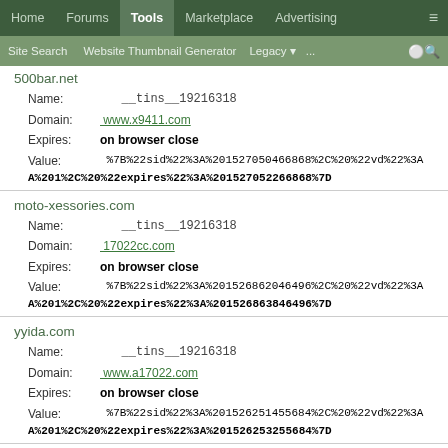Home  Forums  Tools  Marketplace  Advertising  ≡
Site Search  Website Thumbnail Generator  Legacy  ...  🔍
500bar.net
Name: __tins__19216318
Domain: www.x9411.com
Expires: on browser close
Value: %7B%22sid%22%3A%201527050466868%2C%20%22vd%22%3AA%201%2C%20%22expires%22%3A%201527052266868%7D
moto-xessories.com
Name: __tins__19216318
Domain: 17022cc.com
Expires: on browser close
Value: %7B%22sid%22%3A%201526862046496%2C%20%22vd%22%3AA%201%2C%20%22expires%22%3A%201526863846496%7D
yyida.com
Name: __tins__19216318
Domain: www.a17022.com
Expires: on browser close
Value: %7B%22sid%22%3A%201526251455684%2C%20%22vd%22%3AA%201%2C%20%22expires%22%3A%201526253255684%7D
22rraa.com